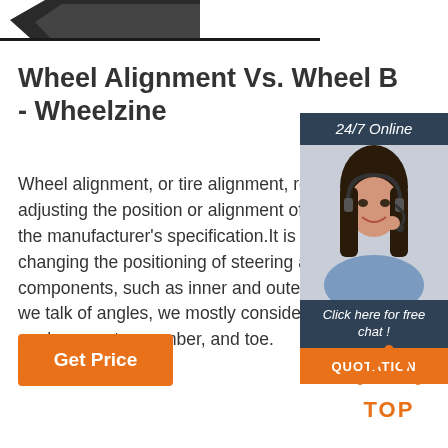[Figure (photo): Partial view of a dark object at the top of the page, resembling a car or wheel component]
Wheel Alignment Vs. Wheel B - Wheelzine
[Figure (photo): Customer service agent widget showing a woman with headset, '24/7 Online' header, 'Click here for free chat!' text, and orange QUOTATION button]
Wheel alignment, or tire alignment, refers to adjusting the position or alignment of the tire the manufacturer's specification.It is carried c changing the positioning of steering and sus components, such as inner and outer tie rod we talk of angles, we mostly consider the thr angles—caster, camber, and toe.
[Figure (other): Orange 'Get Price' button]
[Figure (logo): Orange 'TOP' icon with dots forming a triangle above the word TOP]